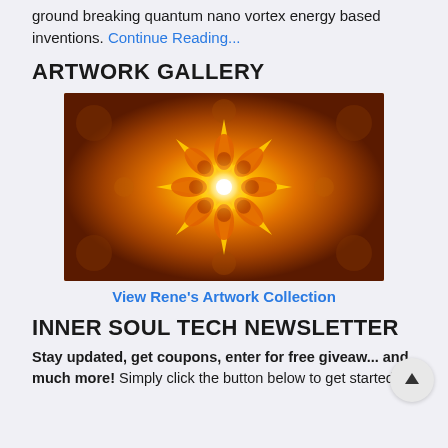ground breaking quantum nano vortex energy based inventions. Continue Reading...
ARTWORK GALLERY
[Figure (photo): Kaleidoscopic mandala-style artwork with orange and yellow tones, featuring a bright star/flower pattern at the center on a fiery orange background]
View Rene's Artwork Collection
INNER SOUL TECH NEWSLETTER
Stay updated, get coupons, enter for free giveaw... and much more! Simply click the button below to get started: